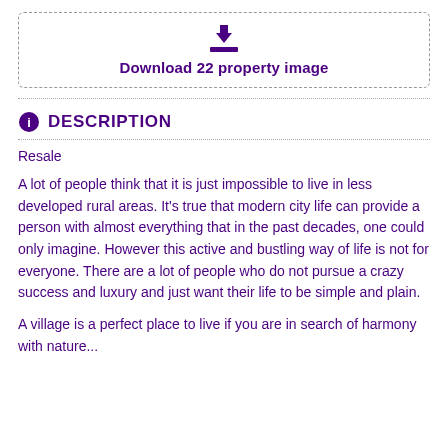[Figure (other): Download button with download icon and dashed border box labeled 'Download 22 property image']
DESCRIPTION
Resale
A lot of people think that it is just impossible to live in less developed rural areas. It's true that modern city life can provide a person with almost everything that in the past decades, one could only imagine. However this active and bustling way of life is not for everyone. There are a lot of people who do not pursue a crazy success and luxury and just want their life to be simple and plain.
A village is a perfect place to live if you are in search of harmony with nature...